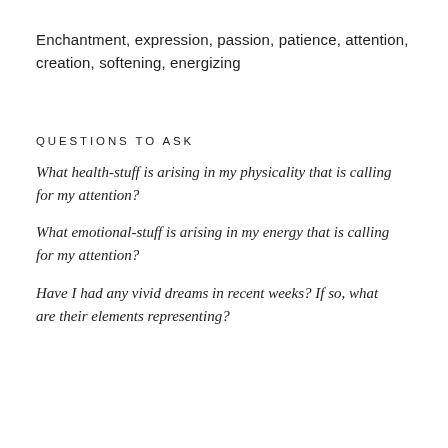Enchantment, expression, passion, patience, attention, creation, softening, energizing
QUESTIONS TO ASK
What health-stuff is arising in my physicality that is calling for my attention?
What emotional-stuff is arising in my energy that is calling for my attention?
Have I had any vivid dreams in recent weeks? If so, what are their elements representing?